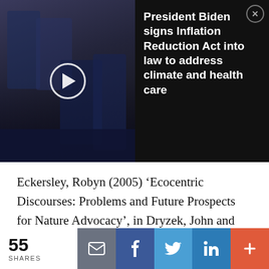[Figure (photo): Video thumbnail showing President Biden signing the Inflation Reduction Act, with people gathered around him. A play button is overlaid on the left side.]
President Biden signs Inflation Reduction Act into law to address climate and health care
Eckersley, Robyn (2005) ‘Ecocentric Discourses: Problems and Future Prospects for Nature Advocacy’, in Dryzek, John and David Schlosberg eds., Debating the Earth: A Reader, 2nd ed (Oxford: Oxford UP).
Gleick, Peter H. (2014) ‘Water, Drought, Climate Change, and Conflict in Syria’, Weather Climate and Society, 6: 331–340.
55 SHARES